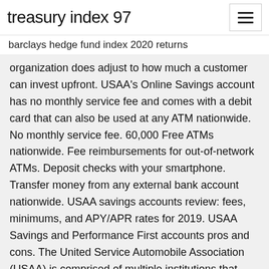treasury index 97
barclays hedge fund index 2020 returns
organization does adjust to how much a customer can invest upfront. USAA's Online Savings account has no monthly service fee and comes with a debit card that can also be used at any ATM nationwide. No monthly service fee. 60,000 Free ATMs nationwide. Fee reimbursements for out-of-network ATMs. Deposit checks with your smartphone. Transfer money from any external bank account nationwide. USAA savings accounts review: fees, minimums, and APY/APR rates for 2019. USAA Savings and Performance First accounts pros and cons. The United Service Automobile Association (USAA) is comprised of multiple institutions that provide services primarily to current or former members of the US military and their families.
Earns interest on balances*; Overdraft Protection available; Free linked savings account;